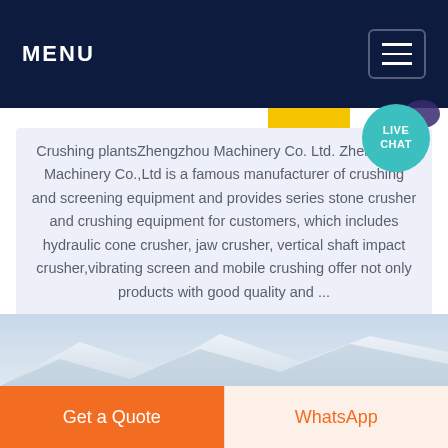MENU
Crushing plantsZhengzhou Machinery Co. Ltd.Zhengzhou Machinery Co.,Ltd is a famous manufacturer of crushing and screening equipment and provides series stone crusher and crushing equipment for customers, which includes hydraulic cone crusher, jaw crusher, vertical shaft impact crusher,vibrating screen and mobile crushing offer not only products with good quality and ...
[Figure (photo): Mountain/rock landscape image strip at the bottom of the content area]
Get a Quote
WhatsApp